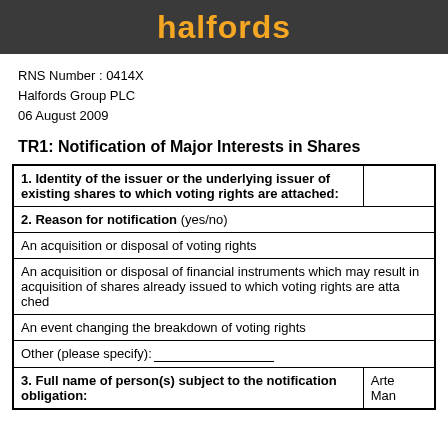halfords
RNS Number : 0414X
Halfords Group PLC
06 August 2009
TR1: Notification of Major Interests in Shares
| 1. Identity of the issuer or the underlying issuer of existing shares to which voting rights are attached: |  |
| 2. Reason for notification (yes/no) |  |
| An acquisition or disposal of voting rights |  |
| An acquisition or disposal of financial instruments which may result in acquisition of shares already issued to which voting rights are attached |  |
| An event changing the breakdown of voting rights |  |
| Other (please specify):________________ |  |
| 3. Full name of person(s) subject to the notification obligation: | Arte
Man |